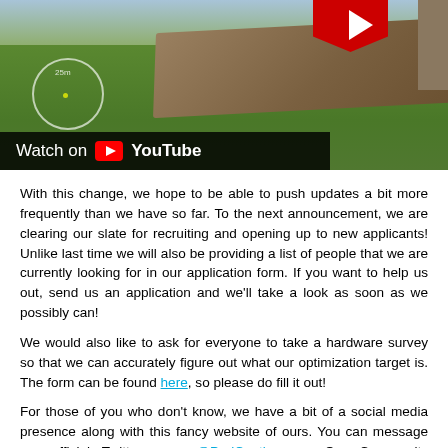[Figure (screenshot): YouTube video thumbnail showing a game scene with grass terrain and dirt mound, with a 'Watch on YouTube' overlay bar at the bottom left and a partial red YouTube logo at top right.]
With this change, we hope to be able to push updates a bit more frequently than we have so far. To the next announcement, we are clearing our slate for recruiting and opening up to new applicants! Unlike last time we will also be providing a list of people that we are currently looking for in our application form. If you want to help us out, send us an application and we'll take a look as soon as we possibly can!
We would also like to ask for everyone to take a hardware survey so that we can accurately figure out what our optimization target is. The form can be found here, so please do fill it out!
For those of you who don't know, we have a bit of a social media presence along with this fancy website of ours. You can message our official Twitter page @ProjContingency. Our Community Manager @R93_Sniper[/url] and our Website Designers @PraiseBeNewGuy and @_Caspar_ for questions,